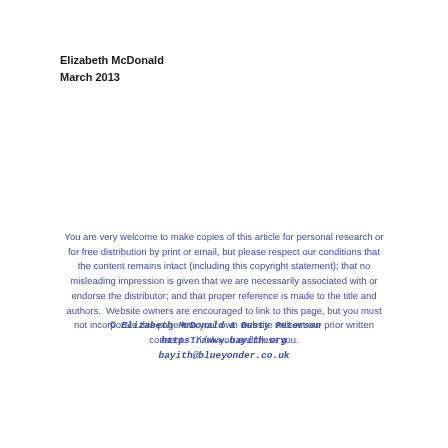Elizabeth McDonald
March 2013
You are very welcome to make copies of this article for personal research or for free distribution by print or email, but please respect our conditions that the content remains intact (including this copyright statement); that no misleading impression is given that we are necessarily associated with or endorse the distributor; and that proper reference is made to the title and authors.  Website owners are encouraged to link to this page, but you must not incorporate this page into your own website without our prior written consent.  Thank you and bless you.
© Elizabeth McDonald & Dusty Peterson   https://www.bayith.org   bayith@blueyonder.co.uk